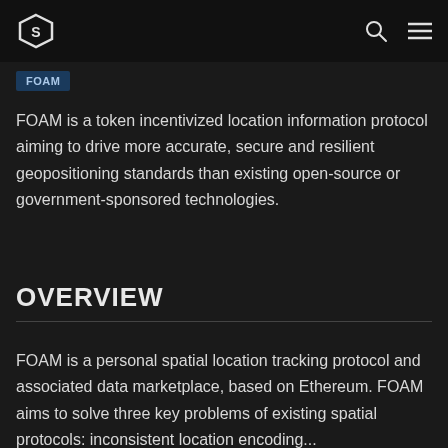S [logo] | Q [search] | = [menu]
FOAM
FOAM is a token incentivized location information protocol aiming to drive more accurate, secure and resilient geopositioning standards than existing open-source or government-sponsored technologies.
OVERVIEW
FOAM is a personal spatial location tracking protocol and associated data marketplace, based on Ethereum. FOAM aims to solve three key problems of existing spatial protocols: inconsistent location encoding...